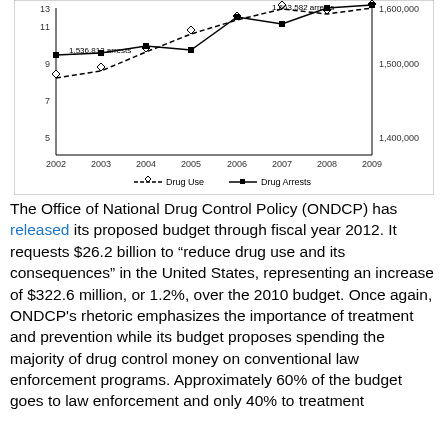[Figure (continuous-plot): Dual-axis line chart showing Drug Use index (left y-axis, scale 5-13) and Drug Arrests (right y-axis, scale ~1,400,000–1,600,000) from 2002 to 2009. Drug Use line rises steeply with a dashed style. Drug Arrests line is relatively flat with square markers. Annotations: '1,536,813 arrests' near 2002 and '1,663,582 arrests' near 2009.]
The Office of National Drug Control Policy (ONDCP) has released its proposed budget through fiscal year 2012. It requests $26.2 billion to “reduce drug use and its consequences” in the United States, representing an increase of $322.6 million, or 1.2%, over the 2010 budget. Once again, ONDCP's rhetoric emphasizes the importance of treatment and prevention while its budget proposes spending the majority of drug control money on conventional law enforcement programs. Approximately 60% of the budget goes to law enforcement and only 40% to treatment